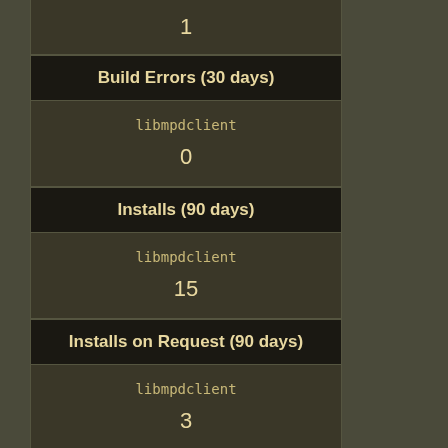1
Build Errors (30 days)
libmpdclient
0
Installs (90 days)
libmpdclient
15
Installs on Request (90 days)
libmpdclient
3